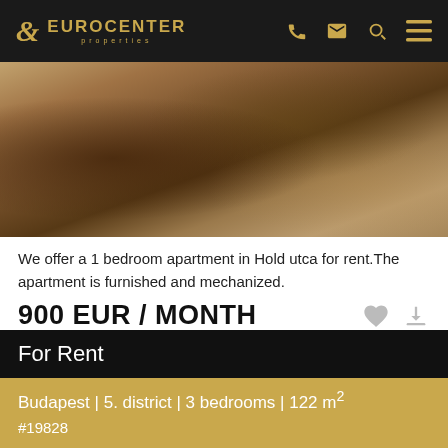EUROCENTER properties
[Figure (photo): Interior photo of an apartment showing a dining table, chairs, and hardwood floor with a rug]
We offer a 1 bedroom apartment in Hold utca for rent.The apartment is furnished and mechanized.
900 EUR / MONTH
LONG TERM
For Rent
Budapest | 5. district | 3 bedrooms | 122 m²
#19828